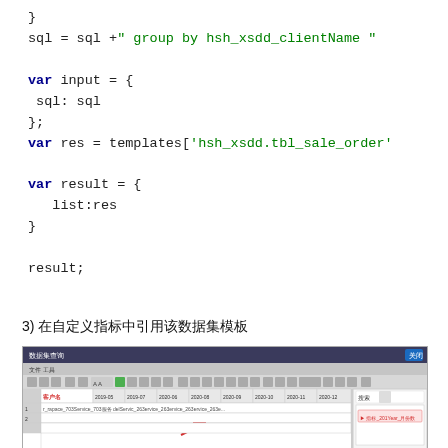}
sql = sql +" group by hsh_xsdd_clientName "

var input = {
  sql: sql
};
var res = templates['hsh_xsdd.tbl_sale_order'

var result = {
   list:res
}

result;
3) 在自定义指标中引用该数据集模板
[Figure (screenshot): Screenshot of a spreadsheet or data analysis tool showing a table with dates 2019-05 through 2021-02 along the column headers and rows of data entries below.]